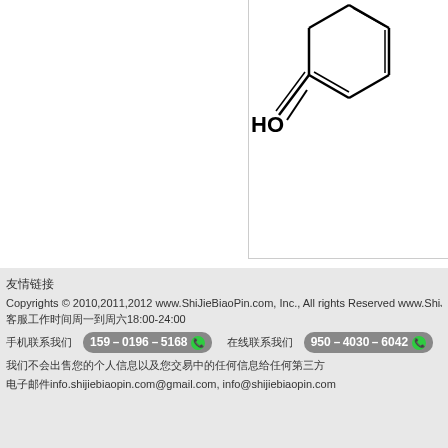[Figure (schematic): Partial chemical structure diagram showing a phenol (benzene ring with HO- group attached), cropped at top-right of the visible area.]
相似度: 100%
友情链接
Copyrights © 2010,2011,2012 www.ShiJieBiaoPin.com, Inc., All rights Reserved www.ShiJie...
客服工作时间周一到周六18:00-24:00
手机联系我们 159-0196-5168  在线联系我们 950-4030-6042
我们不会出售您的个人信息以及您交易中的任何信息给任何第三方
电子邮件info.shijiebiaopin.com@gmail.com, info@shijiebiaopin.com